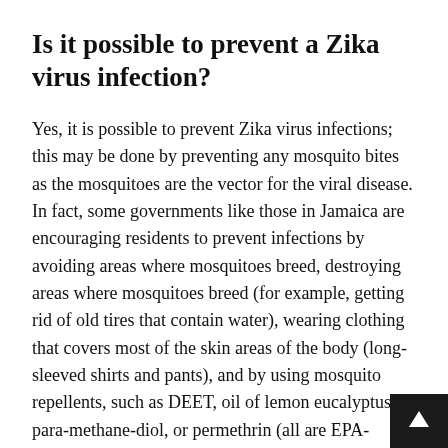Is it possible to prevent a Zika virus infection?
Yes, it is possible to prevent Zika virus infections; this may be done by preventing any mosquito bites as the mosquitoes are the vector for the viral disease. In fact, some governments like those in Jamaica are encouraging residents to prevent infections by avoiding areas where mosquitoes breed, destroying areas where mosquitoes breed (for example, getting rid of old tires that contain water), wearing clothing that covers most of the skin areas of the body (long-sleeved shirts and pants), and by using mosquito repellents, such as DEET, oil of lemon eucalyptus, para-methane-diol, or permethrin (all are EPA-registered insect repellents).